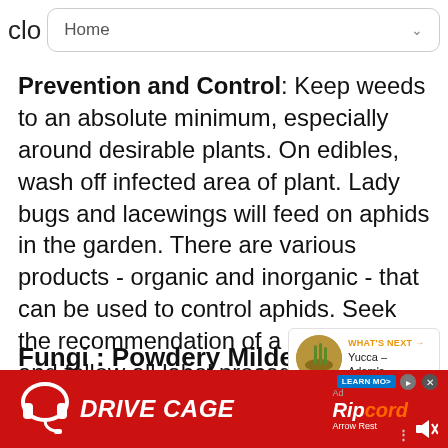clo  Home
Prevention and Control: Keep weeds to an absolute minimum, especially around desirable plants. On edibles, wash off infected area of plant. Lady bugs and lacewings will feed on aphids in the garden. There are various products - organic and inorganic - that can be used to control aphids. Seek the recommendation of a professional and follow all label procedures to a tee.
Fungi : Powdery Mildew
[Figure (infographic): WHAT'S NEXT arrow label with thumbnail image of Yucca plant and text 'Yucca – Adam's...']
Powdery Mildew is usually found on plants tha...
[Figure (infographic): Advertisement banner: DRIVE CAGE with headset image and Ripcord Arrow Rest branding on red background]